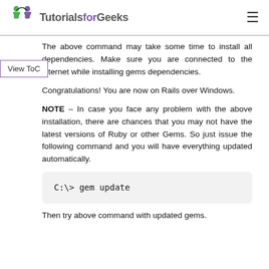TutorialsforGeeks
The above command may take some time to install all dependencies. Make sure you are connected to the internet while installing gems dependencies.
Congratulations! You are now on Rails over Windows.
NOTE – In case you face any problem with the above installation, there are chances that you may not have the latest versions of Ruby or other Gems. So just issue the following command and you will have everything updated automatically.
C:\> gem update
Then try above command with updated gems.